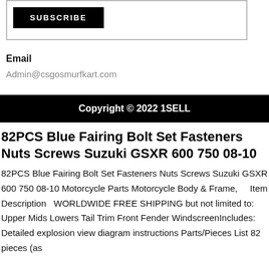[Figure (other): Subscribe button inside a bordered box]
Email
Admin@csgosmurfkart.com
Copyright © 2022 1SELL
82PCS Blue Fairing Bolt Set Fasteners Nuts Screws Suzuki GSXR 600 750 08-10
82PCS Blue Fairing Bolt Set Fasteners Nuts Screws Suzuki GSXR 600 750 08-10 Motorcycle Parts Motorcycle Body & Frame,    Item Description   WORLDWIDE FREE SHIPPING but not limited to: Upper Mids Lowers Tail Trim Front Fender WindscreenIncludes:  Detailed explosion view diagram instructions Parts/Pieces List 82 pieces (as